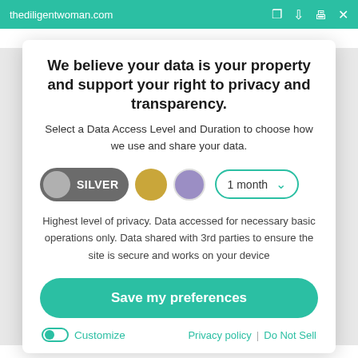thediligentwoman.com
We believe your data is your property and support your right to privacy and transparency.
Select a Data Access Level and Duration to choose how we use and share your data.
[Figure (screenshot): Privacy consent modal with SILVER toggle selected, gold and purple circle options, and a 1 month dropdown selector]
Highest level of privacy. Data accessed for necessary basic operations only. Data shared with 3rd parties to ensure the site is secure and works on your device
Save my preferences
Customize | Privacy policy | Do Not Sell